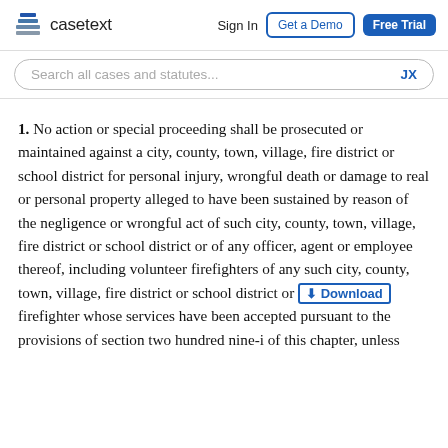casetext | Sign In | Get a Demo | Free Trial
Search all cases and statutes...
1. No action or special proceeding shall be prosecuted or maintained against a city, county, town, village, fire district or school district for personal injury, wrongful death or damage to real or personal property alleged to have been sustained by reason of the negligence or wrongful act of such city, county, town, village, fire district or school district or of any officer, agent or employee thereof, including volunteer firefighters of any such city, county, town, village, fire district or school district or any volunteer firefighter whose services have been accepted pursuant to the provisions of section two hundred nine-i of this chapter, unless